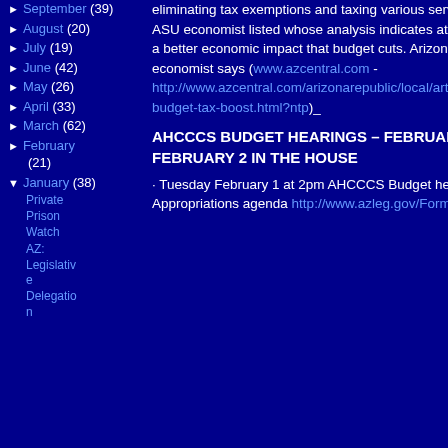► September (39)
► August (20)
► July (19)
► June (42)
► May (26)
► April (33)
► March (62)
► February (21)
▼ January (38)
Private Prison Watch
AZ: Legislative Delegation
eliminating tax exemptions and taxing various services. See the article below from ASU economist listed whose analysis indicates at this point revenue increases have a better economic impact that budget cuts. Arizona tax boost better than budget cuts, economist says (www.azcentral.com - http://www.azcentral.com/arizonarepublic/local/articles/2011/01/28/20110128arizona-budget-tax-boost.html?ntp)_
AHCCCS BUDGET HEARINGS – FEBRUARY 1 IN THE SENATE AND FEBRUARY 2 IN THE HOUSE
· Tuesday February 1 at 2pm AHCCCS Budget hearing - State Senate Appropriations agenda http://www.azleg.gov/FormatDocument.asp?